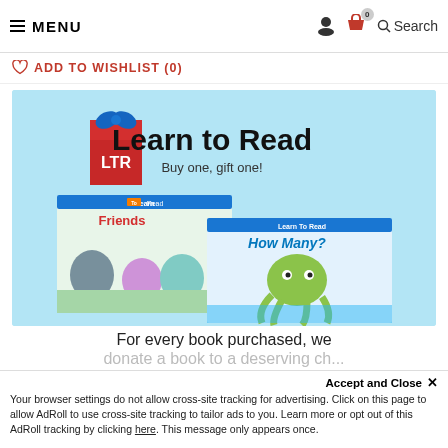MENU | Account | Basket (0) | Search
ADD TO WISHLIST (0)
[Figure (illustration): Learn to Read promotional banner with LTR logo (red book with blue bow), heading 'Learn to Read', tagline 'Buy one, gift one!', and two children's book covers: 'Friends' showing animal characters, and 'How Many?' showing an octopus. Text below: 'For every book purchased, we donate a book to a deserving ch...']
For every book purchased, we
donate a book to a deserving ch...
Accept and Close ✕
Your browser settings do not allow cross-site tracking for advertising. Click on this page to allow AdRoll to use cross-site tracking to tailor ads to you. Learn more or opt out of this AdRoll tracking by clicking here. This message only appears once.